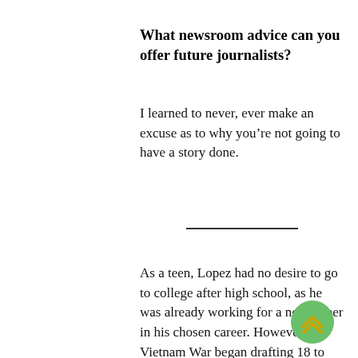What newsroom advice can you offer future journalists?
I learned to never, ever make an excuse as to why you’re not going to have a story done.
As a teen, Lopez had no desire to go to college after high school, as he was already working for a newspaper in his chosen career. However, the Vietnam War began drafting 18 to 26-year-olds, and a college deferment pass was the only way to avoid the draft and continue working as a journalist. Lopez immediately enrolled at LACCD after high school in September of 1966 and graduated from ELAC two years